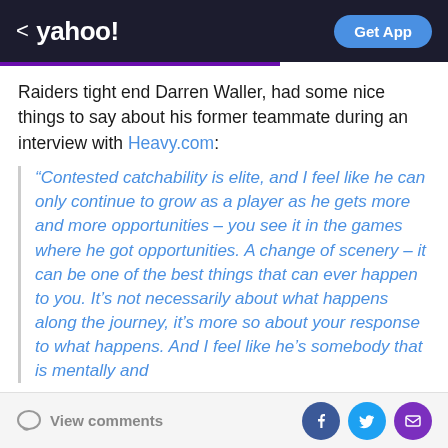< yahoo! | Get App
Raiders tight end Darren Waller, had some nice things to say about his former teammate during an interview with Heavy.com:
“Contested catchability is elite, and I feel like he can only continue to grow as a player as he gets more and more opportunities – you see it in the games where he got opportunities. A change of scenery – it can be one of the best things that can ever happen to you. It’s not necessarily about what happens along the journey, it’s more so about your response to what happens. And I feel like he’s somebody that is mentally and
View comments